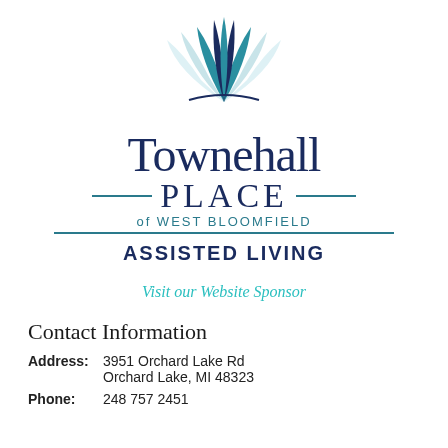[Figure (logo): Townehall Place of West Bloomfield stylized lotus/leaf logo in teal and navy blue]
Townehall PLACE of WEST BLOOMFIELD
ASSISTED LIVING
Visit our Website Sponsor
Contact Information
Address: 3951 Orchard Lake Rd Orchard Lake, MI 48323
Phone: 248 757 2451